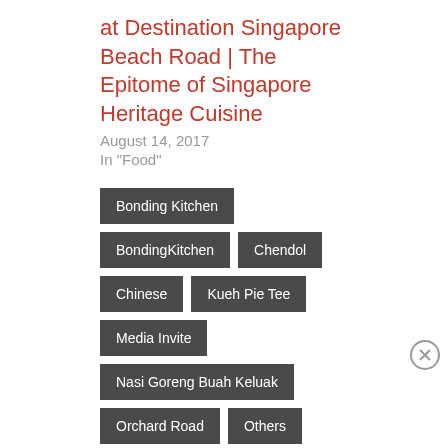at Destination Singapore Beach Road | The Epitome of Singapore Heritage Cuisine
August 14, 2017
In "Food"
Bonding Kitchen
BondingKitchen
Chendol
Chinese
Kueh Pie Tee
Media Invite
Nasi Goreng Buah Keluak
Orchard Road
Others
Peranakan
Pong Tauhu
Wagyu Beef Rendang
Advertisements